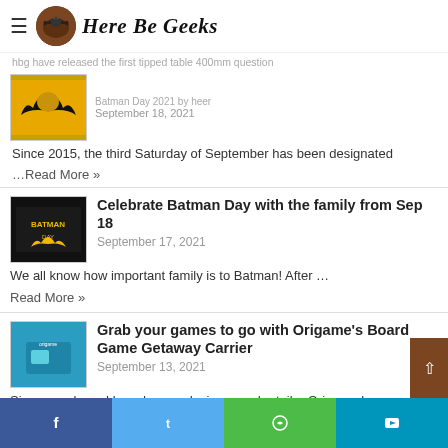Here Be Geeks
...Batman Day 2021 by heer
September 18, 2021
Since 2015, the third Saturday of September has been designated ...Read More »
Celebrate Batman Day with the family from Sep 18
September 17, 2021
We all know how important family is to Batman! After … Read More »
Grab your games to go with Origame's Board Game Getaway Carrier
September 13, 2021
Singapore-based board game designer and retailer Origame has launched it's ...Read More »